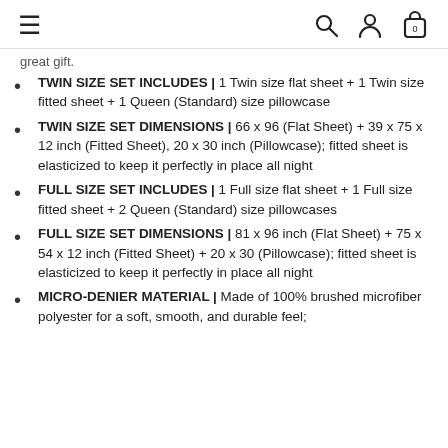≡  🔍 👤 🛍 0
great gift.
TWIN SIZE SET INCLUDES | 1 Twin size flat sheet + 1 Twin size fitted sheet + 1 Queen (Standard) size pillowcase
TWIN SIZE SET DIMENSIONS | 66 x 96 (Flat Sheet) + 39 x 75 x 12 inch (Fitted Sheet), 20 x 30 inch (Pillowcase); fitted sheet is elasticized to keep it perfectly in place all night
FULL SIZE SET INCLUDES | 1 Full size flat sheet + 1 Full size fitted sheet + 2 Queen (Standard) size pillowcases
FULL SIZE SET DIMENSIONS | 81 x 96 inch (Flat Sheet) + 75 x 54 x 12 inch (Fitted Sheet) + 20 x 30 (Pillowcase); fitted sheet is elasticized to keep it perfectly in place all night
MICRO-DENIER MATERIAL | Made of 100% brushed microfiber polyester for a soft, smooth, and durable feel;